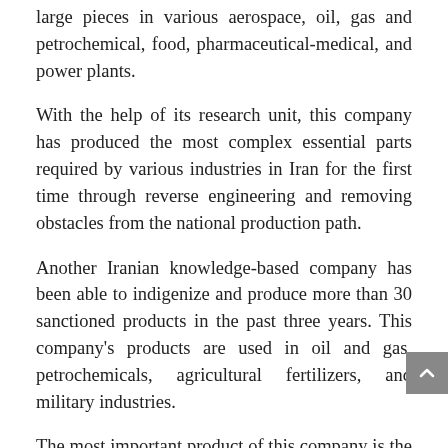large pieces in various aerospace, oil, gas and petrochemical, food, pharmaceutical-medical, and power plants.
With the help of its research unit, this company has produced the most complex essential parts required by various industries in Iran for the first time through reverse engineering and removing obstacles from the national production path.
Another Iranian knowledge-based company has been able to indigenize and produce more than 30 sanctioned products in the past three years. This company's products are used in oil and gas, petrochemicals, agricultural fertilizers, and military industries.
The most important product of this company is the manufacture of city gas deodorizer, which was